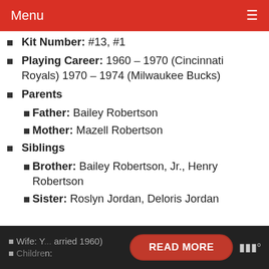Menu
Kit Number: #13, #1
Playing Career: 1960 – 1970 (Cincinnati Royals) 1970 – 1974 (Milwaukee Bucks)
Parents
Father: Bailey Robertson
Mother: Mazell Robertson
Siblings
Brother: Bailey Robertson, Jr., Henry Robertson
Sister: Roslyn Jordan, Deloris Jordan
Wife: Y... (married 1960) Children: